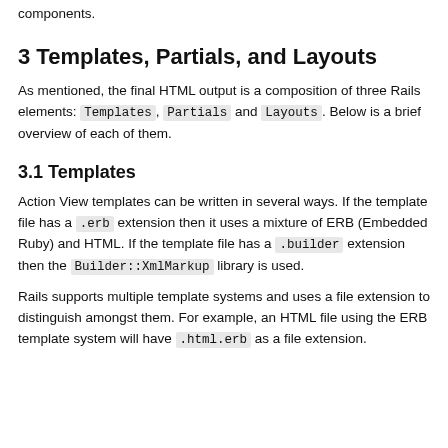and all the partials that the view may reference. Within this guide you will find more detailed documentation about each of these three components.
3 Templates, Partials, and Layouts
As mentioned, the final HTML output is a composition of three Rails elements: Templates, Partials and Layouts. Below is a brief overview of each of them.
3.1 Templates
Action View templates can be written in several ways. If the template file has a .erb extension then it uses a mixture of ERB (Embedded Ruby) and HTML. If the template file has a .builder extension then the Builder::XmlMarkup library is used.
Rails supports multiple template systems and uses a file extension to distinguish amongst them. For example, an HTML file using the ERB template system will have .html.erb as a file extension.